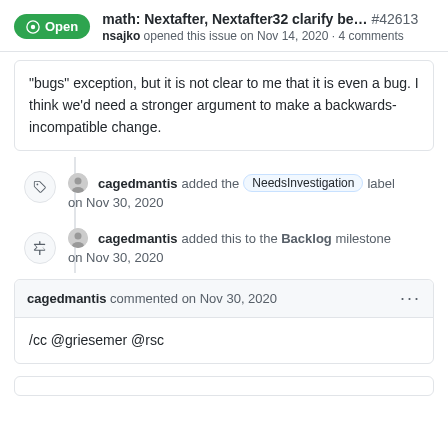math: Nextafter, Nextafter32 clarify be... #42613
nsajko opened this issue on Nov 14, 2020 · 4 comments
"bugs" exception, but it is not clear to me that it is even a bug. I think we'd need a stronger argument to make a backwards-incompatible change.
cagedmantis added the NeedsInvestigation label on Nov 30, 2020
cagedmantis added this to the Backlog milestone on Nov 30, 2020
cagedmantis commented on Nov 30, 2020
/cc @griesemer @rsc